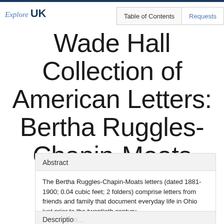Explore UK | Table of Contents | Requests
Wade Hall Collection of American Letters: Bertha Ruggles-Chapin-Moats letters
Abstract
The Bertha Ruggles-Chapin-Moats letters (dated 1881-1900; 0.04 cubic feet; 2 folders) comprise letters from friends and family that document everyday life in Ohio just prior to the twentieth century.
Description